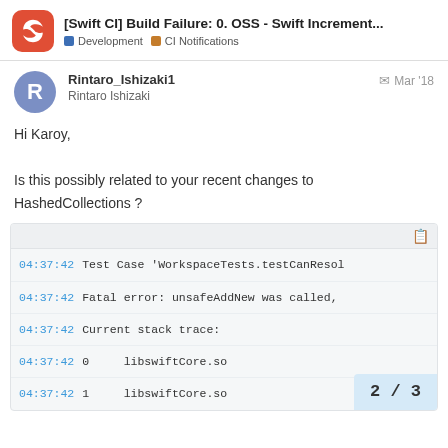[Swift CI] Build Failure: 0. OSS - Swift Increment... — Development | CI Notifications
Rintaro_Ishizaki1
Rintaro Ishizaki
Mar '18
Hi Karoy,

Is this possibly related to your recent changes to HashedCollections ?
[Figure (screenshot): Code block showing CI log lines: 04:37:42 Test Case 'WorkspaceTests.testCanResol, 04:37:42 Fatal error: unsafeAddNew was called,, 04:37:42 Current stack trace:, 04:37:42 0    libswiftCore.so, 04:37:42 1    libswiftCore.so]
2 / 3